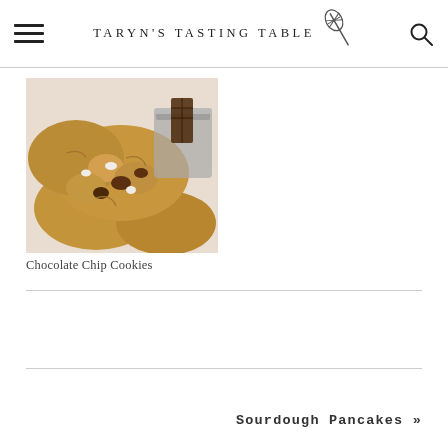TARYN'S TASTING TABLE
[Figure (photo): Close-up photo of chocolate chip cookies with white and dark chocolate chunks on a white surface, with a small metal container in the background]
Chocolate Chip Cookies
Sourdough Pancakes »